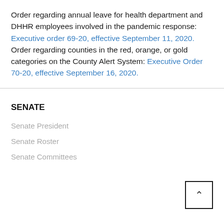Order regarding annual leave for health department and DHHR employees involved in the pandemic response: Executive order 69-20, effective September 11, 2020. Order regarding counties in the red, orange, or gold categories on the County Alert System: Executive Order 70-20, effective September 16, 2020.
SENATE
Senate President
Senate Roster
Senate Committees